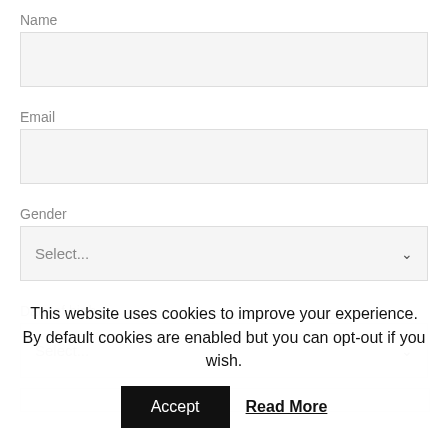Name
[Figure (screenshot): Text input field for Name, empty, light gray background]
Email
[Figure (screenshot): Text input field for Email, empty, light gray background]
Gender
[Figure (screenshot): Dropdown select field for Gender showing 'Select...' with chevron arrow]
Date of birth
[Figure (screenshot): Dropdown select field for Date of birth showing 'Select...' with chevron arrow]
This website uses cookies to improve your experience. By default cookies are enabled but you can opt-out if you wish.
Accept
Read More